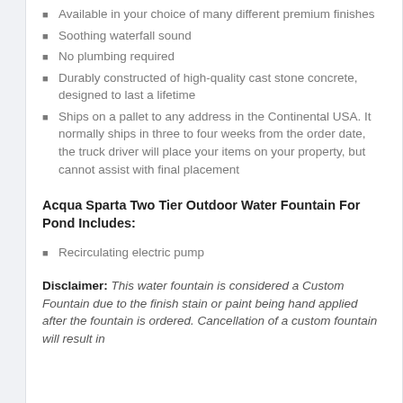Available in your choice of many different premium finishes
Soothing waterfall sound
No plumbing required
Durably constructed of high-quality cast stone concrete, designed to last a lifetime
Ships on a pallet to any address in the Continental USA. It normally ships in three to four weeks from the order date, the truck driver will place your items on your property, but cannot assist with final placement
Acqua Sparta Two Tier Outdoor Water Fountain For Pond Includes:
Recirculating electric pump
Disclaimer: This water fountain is considered a Custom Fountain due to the finish stain or paint being hand applied after the fountain is ordered. Cancellation of a custom fountain will result in